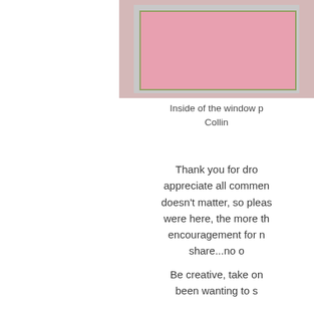[Figure (photo): Partial view of inside of a window, pink interior with silver/gray frame, cropped at right edge of page]
Inside of the window p
Collin
Thank you for dro appreciate all commen doesn't matter, so pleas were here, the more th encouragement for n share...no o
Be creative, take on been wanting to s